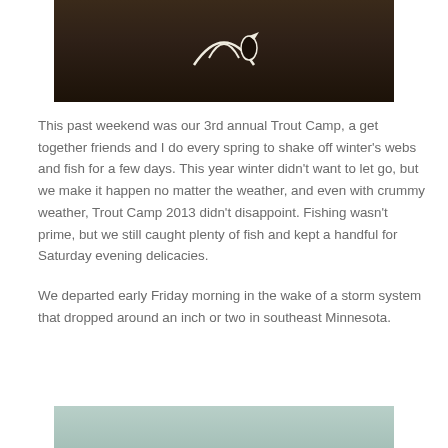[Figure (photo): Partial photo of a dark brown t-shirt with a logo/graphic, cropped showing bottom portion]
This past weekend was our 3rd annual Trout Camp, a get together friends and I do every spring to shake off winter's webs and fish for a few days. This year winter didn't want to let go, but we make it happen no matter the weather, and even with crummy weather, Trout Camp 2013 didn't disappoint. Fishing wasn't prime, but we still caught plenty of fish and kept a handful for Saturday evening delicacies.
We departed early Friday morning in the wake of a storm system that dropped around an inch or two in southeast Minnesota.
[Figure (photo): Partial photo of a light teal/blue-green background, top edge visible at bottom of page]